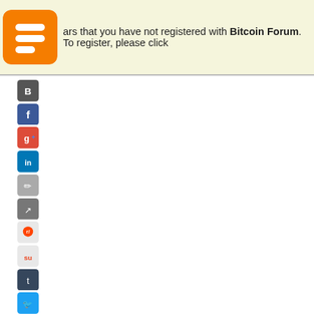ars that you have not registered with Bitcoin Forum. To register, please click
[Figure (screenshot): Social media share sidebar icons (Blogger, Facebook, Google+, LinkedIn, edit, share, Reddit, StumbleUpon, Tumblr, Twitter, Pinterest)]
Step 3: Like & S... (1500 Nexon to...
Step 4: Subscri... (1500 Nexon to...
Step 5: Join the... (1500 Nexon to...
Step 6: Registe... (1500 Nexon to...